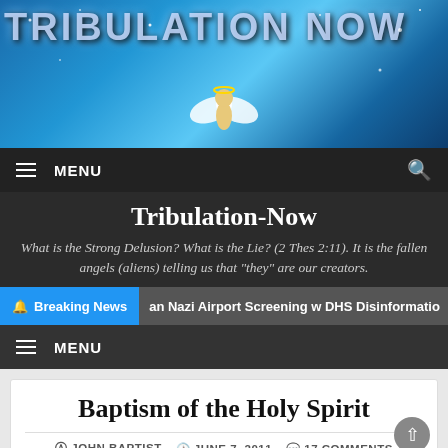[Figure (screenshot): Website banner for Tribulation Now with blue cosmic background and angel figure]
TRIBULATION NOW
≡ MENU
Tribulation-Now
What is the Strong Delusion? What is the Lie? (2 Thes 2:11). It is the fallen angels (aliens) telling us that "they" are our creators.
🔔 Breaking News  ...an Nazi Airport Screening w DHS Disinformatio
≡ MENU
Baptism of the Holy Spirit
JOHN BAPTIST   JUNE 7, 2011   17 COMMENTS